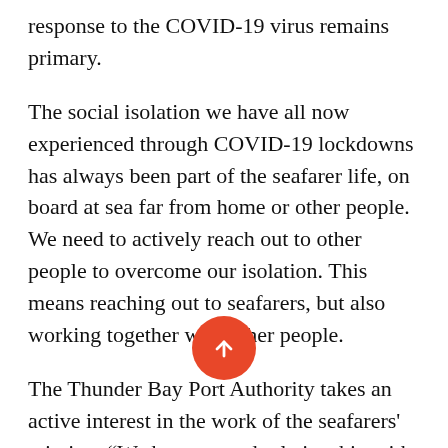response to the COVID-19 virus remains primary.
The social isolation we have all now experienced through COVID-19 lockdowns has always been part of the seafarer life, on board at sea far from home or other people. We need to actively reach out to other people to overcome our isolation. This means reaching out to seafarers, but also working together with other people.
The Thunder Bay Port Authority takes an active interest in the work of the seafarers' mission. “We have a good relationship with them. We appreciate the work they do in the port. They seem to have a good grasp on their mandate,” said Port of Thunder Bay